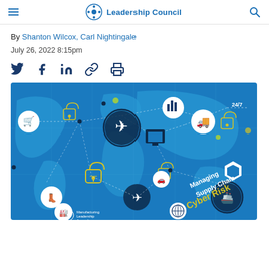Manufacturing Leadership Council
By Shanton Wilcox, Carl Nightingale
July 26, 2022 8:15pm
[Figure (infographic): Supply chain cyber risk infographic showing a world map in blue with icons for transportation (airplane, truck, ship), e-commerce (shopping cart), security (padlock), data/analytics, and text reading 'Managing Supply Chain Cyber Risk'. Connected by dotted lines across a blue world map background. Manufacturing Leadership Journal logo in lower left.]